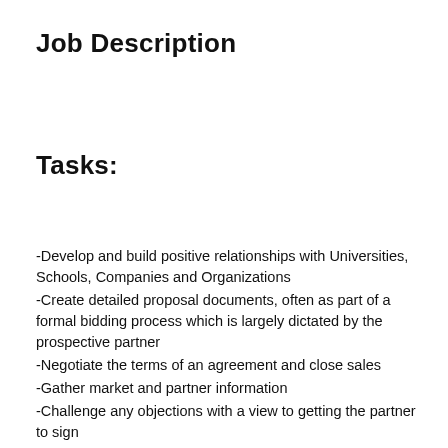Job Description
Tasks:
-Develop and build positive relationships with Universities, Schools, Companies and Organizations
-Create detailed proposal documents, often as part of a formal bidding process which is largely dictated by the prospective partner
-Negotiate the terms of an agreement and close sales
-Gather market and partner information
-Challenge any objections with a view to getting the partner to sign